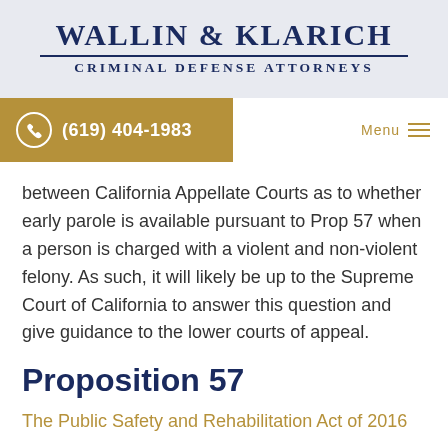WALLIN & KLARICH
CRIMINAL DEFENSE ATTORNEYS
(619) 404-1983
between California Appellate Courts as to whether early parole is available pursuant to Prop 57 when a person is charged with a violent and non-violent felony. As such, it will likely be up to the Supreme Court of California to answer this question and give guidance to the lower courts of appeal.
Proposition 57
The Public Safety and Rehabilitation Act of 2016